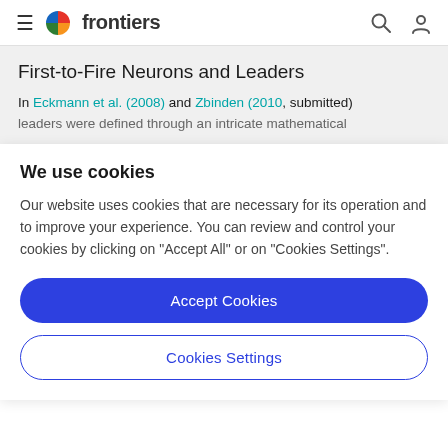frontiers
First-to-Fire Neurons and Leaders
In Eckmann et al. (2008) and Zbinden (2010, submitted) leaders were defined through an intricate mathematical
We use cookies
Our website uses cookies that are necessary for its operation and to improve your experience. You can review and control your cookies by clicking on "Accept All" or on "Cookies Settings".
Accept Cookies
Cookies Settings